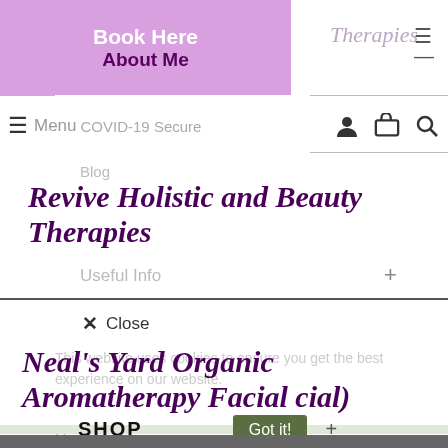Book Here
About Me
Therapies
≡ Menu COVID-19 Secure
Blog
Revive Holistic and Beauty Therapies
Useful Info +
✕  Close
This website uses cookies to ensure you get the best experience on our website.
Neal's Yard Organic Aromatherapy Facial cial)
Home
SHOP
Got it!
ENTS > Treatments for